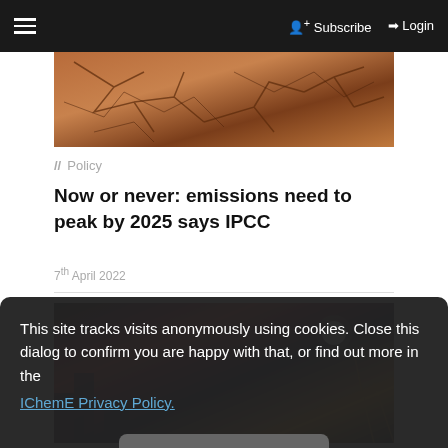≡  Subscribe  Login
[Figure (photo): Cracked dry earth/soil texture photo]
// Policy
Now or never: emissions need to peak by 2025 says IPCC
7th April 2022
[Figure (photo): Night-time industrial or city scene with lights]
This site tracks visits anonymously using cookies. Close this dialog to confirm you are happy with that, or find out more in the IChemE Privacy Policy.
Close